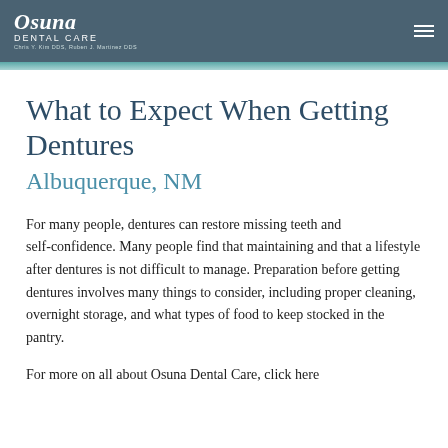Osuna Dental Care — Chris Y. Kim DDS, Ruben J. Martinez DDS
What to Expect When Getting Dentures Albuquerque, NM
For many people, dentures can restore missing teeth and self-confidence. Many people find that maintaining and that a lifestyle after dentures is not difficult to manage. Preparation before getting dentures involves many things to consider, including proper cleaning, overnight storage, and what types of food to keep stocked in the pantry.